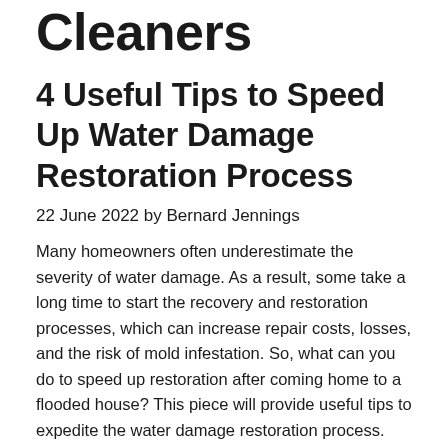Cleaners
4 Useful Tips to Speed Up Water Damage Restoration Process
22 June 2022 by Bernard Jennings
Many homeowners often underestimate the severity of water damage. As a result, some take a long time to start the recovery and restoration processes, which can increase repair costs, losses, and the risk of mold infestation. So, what can you do to speed up restoration after coming home to a flooded house? This piece will provide useful tips to expedite the water damage restoration process.
1. Call the Specialists
It can be tempting to handle water damage restoration yourself to save some money. However, hiring specialists saves you more money by expediting the clean-up process and minimizing liabilities. The specialists will ask about the damage, the duration